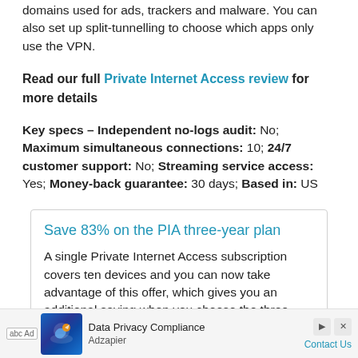domains used for ads, trackers and malware. You can also set up split-tunnelling to choose which apps only use the VPN.
Read our full Private Internet Access review for more details
Key specs – Independent no-logs audit: No; Maximum simultaneous connections: 10; 24/7 customer support: No; Streaming service access: Yes; Money-back guarantee: 30 days; Based in: US
Save 83% on the PIA three-year plan
A single Private Internet Access subscription covers ten devices and you can now take advantage of this offer, which gives you an additional saving when you choose the three-year plan. Like the other top VPNs also offer a money-back 30-day guarantee
Ad – Data Privacy Compliance – Adzapier – Contact Us